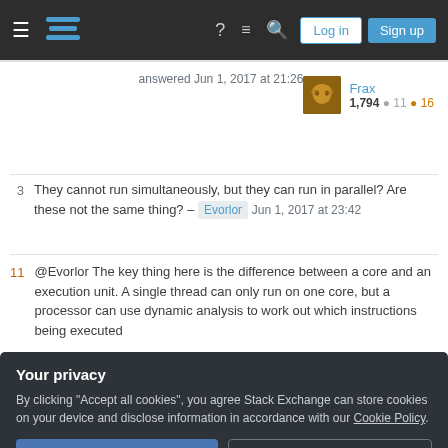Stack Exchange — hamburger menu, logo, help, chat, search, Log in, Sign up
answered Jun 1, 2017 at 21:26
Frax
1,794 ● 11 ● 16
3  They cannot run simultaneously, but they can run in parallel? Are these not the same thing? – Evorlor  Jun 1, 2017 at 23:42
11  @Evorlor The key thing here is the difference between a core and an execution unit. A single thread can only run on one core, but a processor can use dynamic analysis to work out which instructions being executed
Your privacy
By clicking "Accept all cookies", you agree Stack Exchange can store cookies on your device and disclose information in accordance with our Cookie Policy.
Accept all cookies   Customize settings
that update a loop counter are independent from some